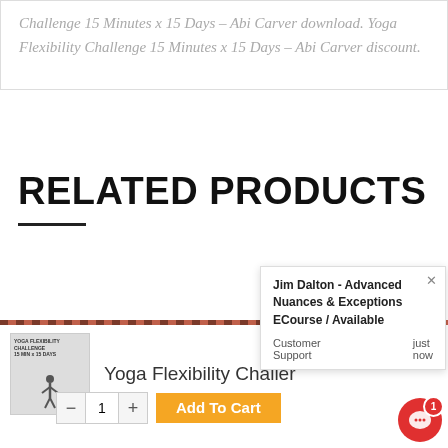Challenge 15 Minutes x 15 Days – Abi Carver download. Yoga Flexibility Challenge 15 Minutes x 15 Days – Abi Carver discount.
RELATED PRODUCTS
[Figure (screenshot): Product card for Yoga Flexibility Challer with thumbnail image showing a figure doing yoga, product name text, quantity selector with minus/plus buttons showing 1, and Add To Cart button in orange]
[Figure (screenshot): Chat popup overlay: Jim Dalton - Advanced Nuances & Exceptions ECourse / Available. Customer Support just now. And a red chat bubble icon with badge showing 1.]